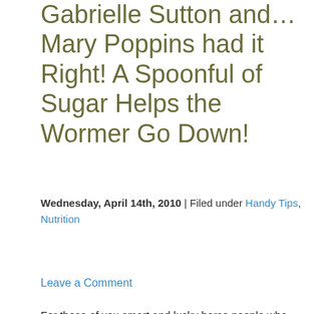Gabrielle Sutton and... Mary Poppins had it Right! A Spoonful of Sugar Helps the Wormer Go Down!
Wednesday, April 14th, 2010 | Filed under Handy Tips, Nutrition
[Figure (other): Tweet button with Twitter bird icon]
Leave a Comment
For those of you smart and lucky horse people who only have one horse, worming day is probably a very manageable day.  But, for us insane multiple horse
[Figure (photo): Photo of multiple horse wormer paste tubes and packaging spread out in a green bucket or container]